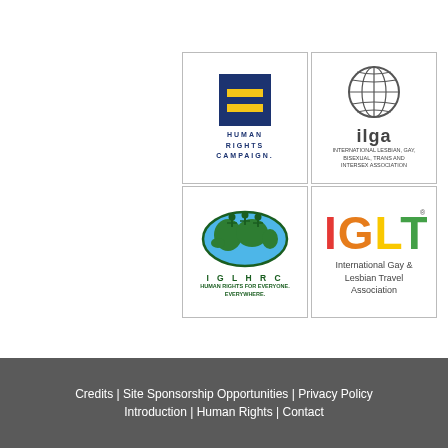[Figure (logo): Human Rights Campaign logo: blue square with yellow equal sign, text HUMAN RIGHTS CAMPAIGN below]
[Figure (logo): ILGA logo: globe wireframe graphic, text 'ilga', subtitle INTERNATIONAL LESBIAN, GAY, BISEXUAL, TRANS AND INTERSEX ASSOCIATION]
[Figure (logo): IGLHRC logo: oval with world map in green and blue, text IGLHRC, tagline HUMAN RIGHTS FOR EVERYONE. EVERYWHERE.]
[Figure (logo): IGLTA logo: colorful rainbow text IGLTA, subtitle International Gay & Lesbian Travel Association]
Credits | Site Sponsorship Opportunities | Privacy Policy
Introduction | Human Rights | Contact